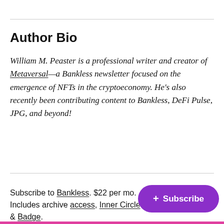Author Bio
William M. Peaster is a professional writer and creator of Metaversal—a Bankless newsletter focused on the emergence of NFTs in the cryptoeconomy. He's also recently been contributing content to Bankless, DeFi Pulse, JPG, and beyond!
Subscribe to Bankless. $22 per mo. Includes archive access, Inner Circle & Badge.